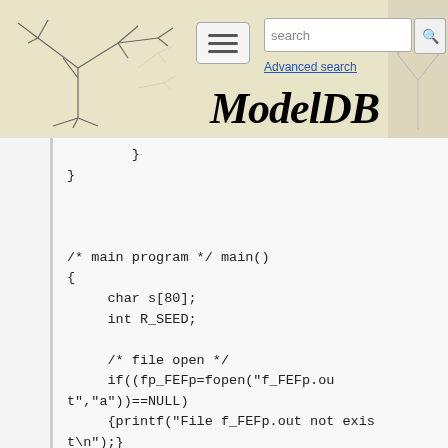[Figure (screenshot): ModelDB website header with logo (tree/neuron illustration), hamburger menu button, search box, Advanced search link, and ModelDB title in italic serif font]
/* main program */ main()
{
    char s[80];
    int R_SEED;

    /* file open */
    if((fp_FEFp=fopen("f_FEFp.out","a"))==NULL)
    {printf("File f_FEFp.out not exist\n");}
    if((fp_FEFi=fopen("f_FEFi.out","a"))==NULL)
    {printf("File f_FEFi.out not exist\n");}

    /* set a seed for random variable